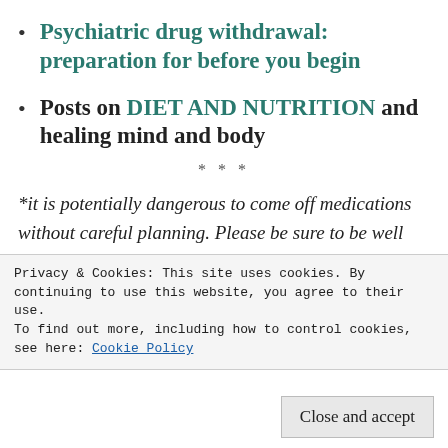Psychiatric drug withdrawal: preparation for before you begin
Posts on DIET AND NUTRITION and healing mind and body
***
*it is potentially dangerous to come off medications without careful planning. Please be sure to be well educated before undertaking any sort of discontinuation of medications. If your MD agrees to help you do so, do not assume they know how to do it well even if they claim to have experience. They are generally not trained in discontinuation and may not
Privacy & Cookies: This site uses cookies. By continuing to use this website, you agree to their use.
To find out more, including how to control cookies, see here: Cookie Policy
Close and accept